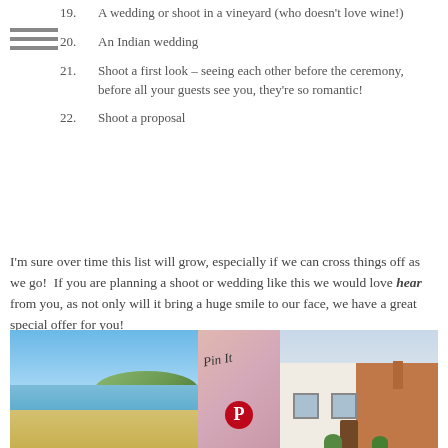19. A wedding or shoot in a vineyard (who doesn't love wine!)
20. An Indian wedding
21. Shoot a first look – seeing each other before the ceremony, before all your guests see you, they're so romantic!
22. Shoot a proposal
I'm sure over time this list will grow, especially if we can cross things off as we go!  If you are planning a shoot or wedding like this we would love hear from you, as not only will it bring a huge smile to our face, we have a great special offer for you!
[Figure (photo): Three photos side by side: a beach scene with blue sky and sea, a Pinterest-style image with decorative text, and a venue building exterior.]